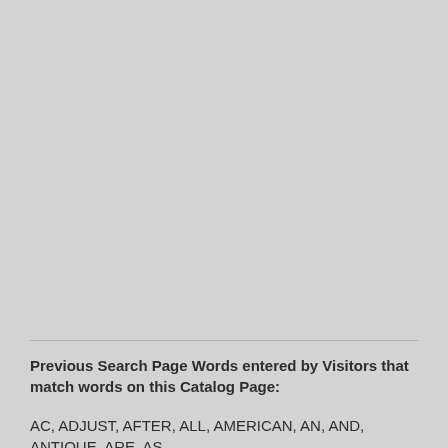Previous Search Page Words entered by Visitors that match words on this Catalog Page:
AC, ADJUST, AFTER, ALL, AMERICAN, AN, AND, ANTIQUE, ARE, AS,